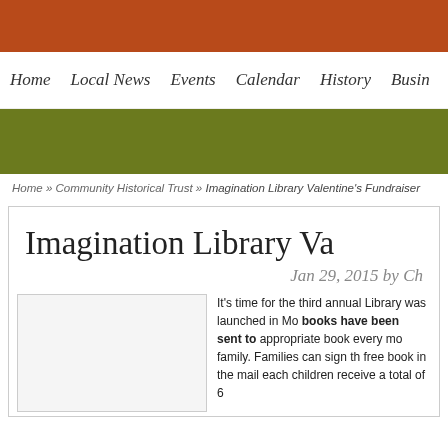Home  Local News  Events  Calendar  History  Busin
Home » Community Historical Trust » Imagination Library Valentine's Fundraiser
Imagination Library Va
Jan 29, 2015 by Ch
[Figure (photo): Image placeholder for article photo]
It's time for the third annual Imagination Library was launched in Mo books have been sent to appropriate book every mo family. Families can sign th free book in the mail each children receive a total of 6